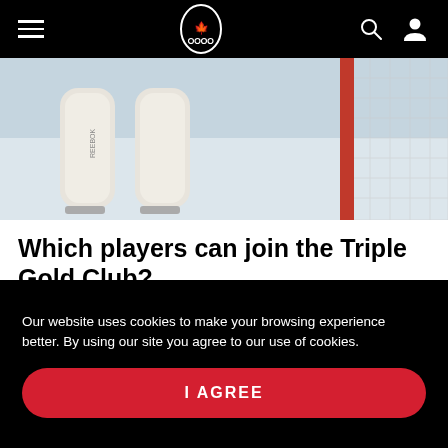Canadian Olympic Committee navigation bar with hamburger menu, logo, search and user icons
[Figure (photo): Close-up photo of ice hockey goalie pads and skates on ice, with a red goal post visible on the right side. Reebok branding visible on pads.]
Which players can join the Triple Gold Club?
This time around, no Canadian players will be able to join the exclusive club. The Triple Gold Club is an elite...
Our website uses cookies to make your browsing experience better. By using our site you agree to our use of cookies.
I AGREE